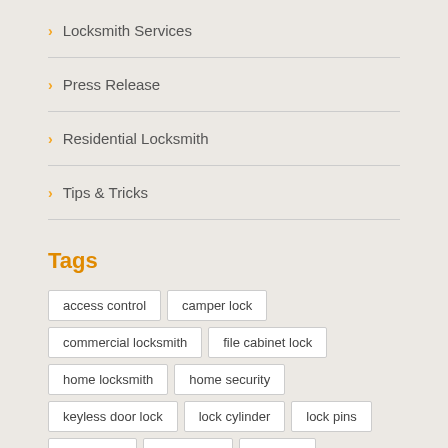Locksmith Services
Press Release
Residential Locksmith
Tips & Tricks
Tags
access control
camper lock
commercial locksmith
file cabinet lock
home locksmith
home security
keyless door lock
lock cylinder
lock pins
lock rekey
lock repair
locksout